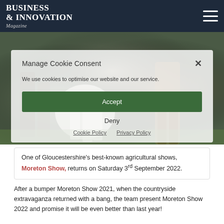BUSINESS & INNOVATION Magazine
[Figure (photo): Background photo of horse and people at an agricultural show, partially visible behind cookie consent modal]
Manage Cookie Consent
We use cookies to optimise our website and our service.
Accept
Deny
Cookie Policy  Privacy Policy
One of Gloucestershire's best-known agricultural shows, Moreton Show, returns on Saturday 3rd September 2022.
After a bumper Moreton Show 2021, when the countryside extravaganza returned with a bang, the team present Moreton Show 2022 and promise it will be even better than last year!